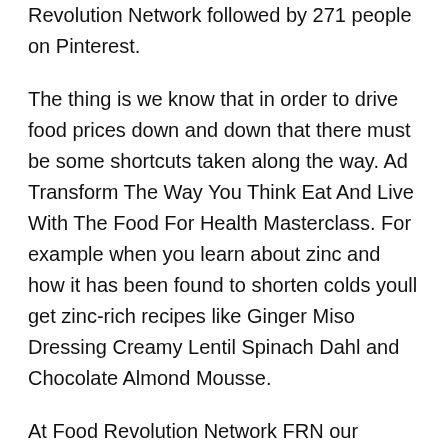Revolution Network followed by 271 people on Pinterest.
The thing is we know that in order to drive food prices down and down that there must be some shortcuts taken along the way. Ad Transform The Way You Think Eat And Live With The Food For Health Masterclass. For example when you learn about zinc and how it has been found to shorten colds youll get zinc-rich recipes like Ginger Miso Dressing Creamy Lentil Spinach Dahl and Chocolate Almond Mousse.
At Food Revolution Network FRN our mission is healthy ethical sustainable food for all. Add the beans stock sweet potato celery bay leaf salt pepper vinegar and paprika and stir to combine. Oct 8 2021 – Explore Joannette Ambrosos board Food Revolution